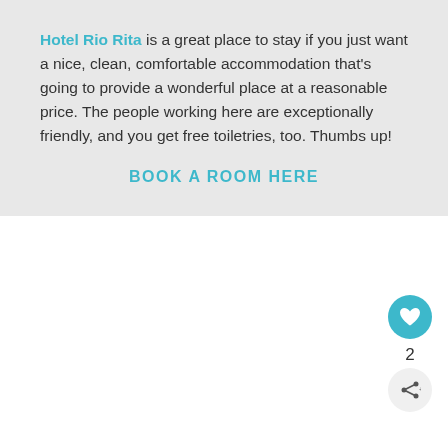Hotel Rio Rita is a great place to stay if you just want a nice, clean, comfortable accommodation that's going to provide a wonderful place at a reasonable price. The people working here are exceptionally friendly, and you get free toiletries, too. Thumbs up!
BOOK A ROOM HERE